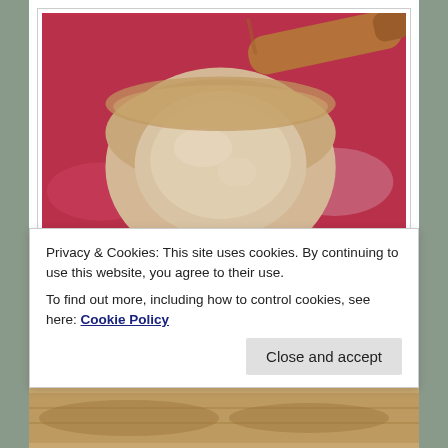[Figure (photo): A round pie dough/pastry shell formed into a bowl shape sitting on a red silicone baking mat, with a wooden rolling pin visible in the upper right corner]
Trim the edge with the back of a butter knife. Always
Privacy & Cookies: This site uses cookies. By continuing to use this website, you agree to their use.
To find out more, including how to control cookies, see here: Cookie Policy
[Figure (photo): Bottom strip showing a partial view of baked pastry or bread]